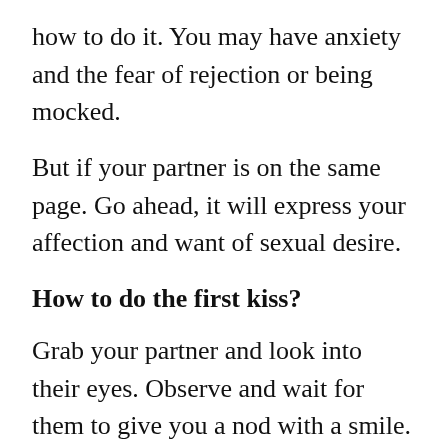how to do it. You may have anxiety and the fear of rejection or being mocked.
But if your partner is on the same page. Go ahead, it will express your affection and want of sexual desire.
How to do the first kiss?
Grab your partner and look into their eyes. Observe and wait for them to give you a nod with a smile. If they close their eyes or blush, it implies that your partner is ready for your kiss and will respond.
Move close…